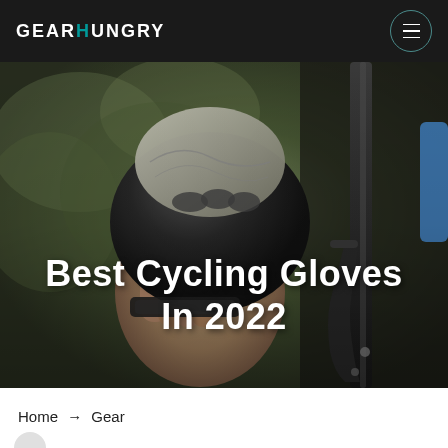GEARHUNGRY
[Figure (photo): Photo of a hand wearing a black and white cycling glove gripping bicycle handlebars, with a blurred green outdoor background. Title 'Best Cycling Gloves In 2022' overlaid in large bold white text centered on the image.]
Best Cycling Gloves In 2022
Home → Gear